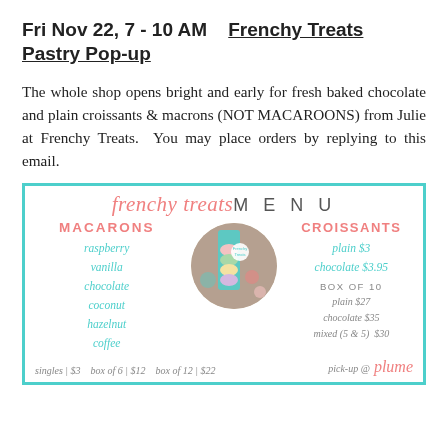Fri Nov 22, 7 - 10 AM    Frenchy Treats Pastry Pop-up
The whole shop opens bright and early for fresh baked chocolate and plain croissants & macrons (NOT MACAROONS) from Julie at Frenchy Treats.  You may place orders by replying to this email.
[Figure (infographic): Frenchy Treats Menu card with teal border showing macarons section on the left with flavors (raspberry, vanilla, chocolate, coconut, hazelnut, coffee) and pricing, a circular photo of macarons in the center, and croissants section on the right with pricing (plain $3, chocolate $3.95, box of 10: plain $27, chocolate $35, mixed (5 & 5) $30). Bottom shows singles | $3  box of 6 | $12  box of 12 | $22 on left and pick-up @ plume on right.]